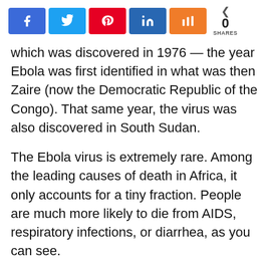[Figure (other): Social media share buttons: Facebook, Twitter, Pinterest, LinkedIn, Mix, and a share count showing 0 SHARES]
which was discovered in 1976 — the year Ebola was first identified in what was then Zaire (now the Democratic Republic of the Congo). That same year, the virus was also discovered in South Sudan.
The Ebola virus is extremely rare. Among the leading causes of death in Africa, it only accounts for a tiny fraction. People are much more likely to die from AIDS, respiratory infections, or diarrhea, as you can see.
Since 1976, there have only been about 20 known Ebola outbreaks. Until last year, the  total impact of these outbreaks included 2,357 cases and 1,548 deaths, according to the Centers for Disease